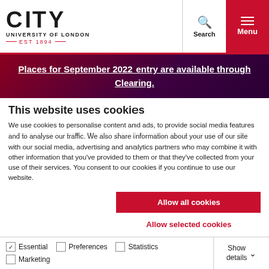CITY UNIVERSITY OF LONDON EST 1894 | Search | Menu
Places for September 2022 entry are available through Clearing.
This website uses cookies
We use cookies to personalise content and ads, to provide social media features and to analyse our traffic. We also share information about your use of our site with our social media, advertising and analytics partners who may combine it with other information that you've provided to them or that they've collected from your use of their services. You consent to our cookies if you continue to use our website.
Allow all cookies
Allow selected cookies
Only allow essential cookies
Essential  Preferences  Statistics  Marketing  Show details